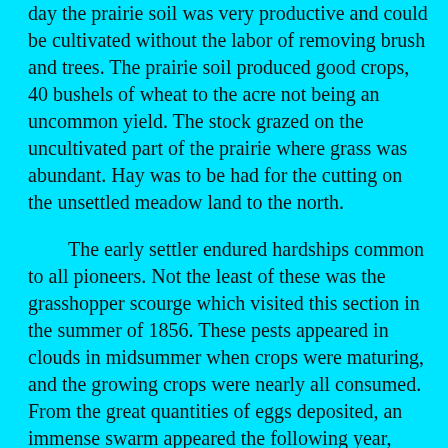day the prairie soil was very productive and could be cultivated without the labor of removing brush and trees. The prairie soil produced good crops, 40 bushels of wheat to the acre not being an uncommon yield. The stock grazed on the uncultivated part of the prairie where grass was abundant. Hay was to be had for the cutting on the unsettled meadow land to the north.
The early settler endured hardships common to all pioneers. Not the least of these was the grasshopper scourge which visited this section in the summer of 1856. These pests appeared in clouds in midsummer when crops were maturing, and the growing crops were nearly all consumed. From the great quantities of eggs deposited, an immense swarm appeared the following year, devouring all green growth. They suddenly left this section early in the summer of 1857, and since that time have not appeared in numbers to do much damage.
The early stage road which was the route to